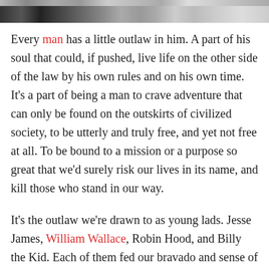[Figure (photo): Black and white photo strip at the top of the page, partially cropped, showing silhouetted figures]
Every man has a little outlaw in him. A part of his soul that could, if pushed, live life on the other side of the law by his own rules and on his own time. It's a part of being a man to crave adventure that can only be found on the outskirts of civilized society, to be utterly and truly free, and yet not free at all. To be bound to a mission or a purpose so great that we'd surely risk our lives in its name, and kill those who stand in our way.
It's the outlaw we're drawn to as young lads. Jesse James, William Wallace, Robin Hood, and Billy the Kid. Each of them fed our bravado and sense of adventure enough to get us to dress up as cowboys and soldiers and warriors, gun in hand ready to take down any fool that dare oppose us. When we're outlaws in our day-to-day, no matter how insignificantly, we feel strong, we feel